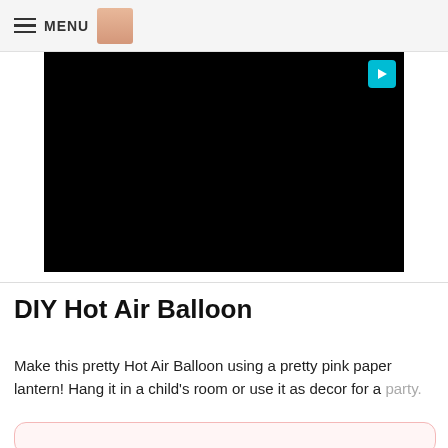MENU
[Figure (screenshot): Black video player area with a teal play button in the top-right corner]
DIY Hot Air Balloon
Make this pretty Hot Air Balloon using a pretty pink paper lantern! Hang it in a child's room or use it as decor for a party.